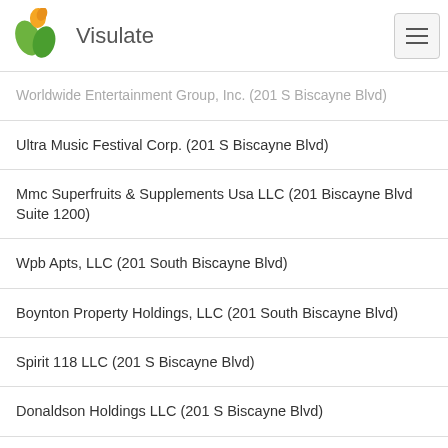Visulate
Worldwide Entertainment Group, Inc. (201 S Biscayne Blvd)
Ultra Music Festival Corp. (201 S Biscayne Blvd)
Mmc Superfruits & Supplements Usa LLC (201 Biscayne Blvd Suite 1200)
Wpb Apts, LLC (201 South Biscayne Blvd)
Boynton Property Holdings, LLC (201 South Biscayne Blvd)
Spirit 118 LLC (201 S Biscayne Blvd)
Donaldson Holdings LLC (201 S Biscayne Blvd)
Timothy J. Mc Carthy, P.A. (201 South Biscayne Blvd #2500)
Michael Charles Foster, P.A. (201 S Biscayne Blvd)
Dead Eye Dave'S, LLC (200 South Biscayne Blvd)